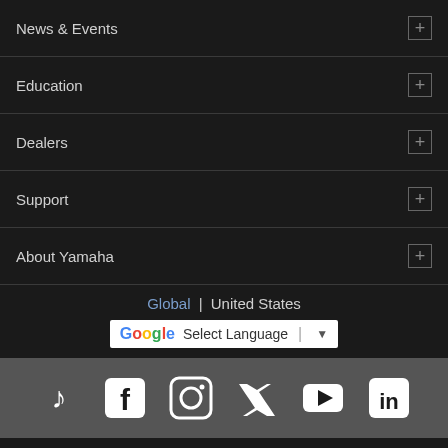News & Events
Education
Dealers
Support
About Yamaha
Global | United States
[Figure (screenshot): Google Translate widget with 'Select Language' dropdown]
[Figure (infographic): Social media icons: TikTok, Facebook, Instagram, Twitter, YouTube, LinkedIn]
Contact Us   Terms of Use
Privacy Policy   Accessibility
Copyright © Yamaha Corporation of America and Yamaha Corporation. All rights reserved.